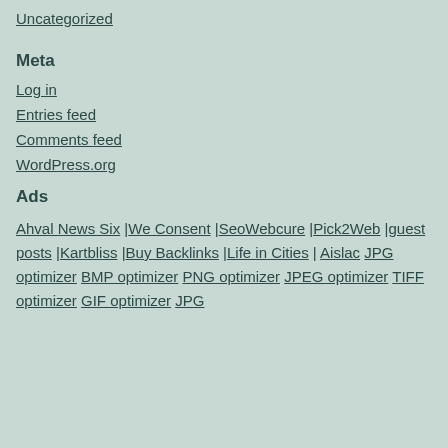Uncategorized
Meta
Log in
Entries feed
Comments feed
WordPress.org
Ads
Ahval News Six |We Consent |SeoWebcure |Pick2Web |guest posts |Kartbliss |Buy Backlinks |Life in Cities | Aislac JPG optimizer BMP optimizer PNG optimizer JPEG optimizer TIFF optimizer GIF optimizer JPG